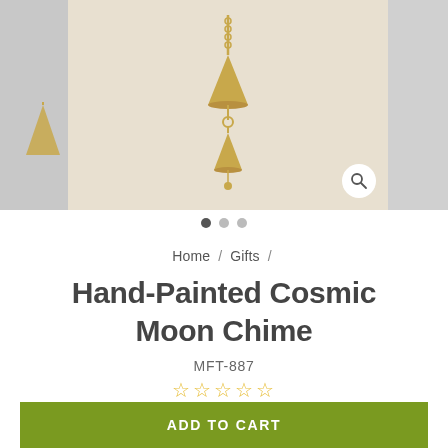[Figure (photo): Product image gallery showing Hand-Painted Cosmic Moon Chime. Center image shows golden brass cone-shaped chimes hanging on a chain against a beige/cream background. Left side shows partial view of another image. Right side shows partial gray background.]
Home / Gifts /
Hand-Painted Cosmic Moon Chime
MFT-887
☆☆☆☆☆
$ 16.00
ADD TO CART